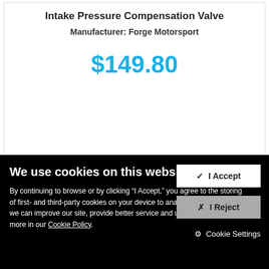Intake Pressure Compensation Valve
Manufacturer: Forge Motorsport
$149.80
[Figure (photo): Product image placeholder with pink/rose colored box]
We use cookies on this website
By continuing to browse or by clicking "I Accept," you agree to the storing of first- and third-party cookies on your device to analyze site usage so we can improve our site, provide better service and use Paypal. Find out more in our Cookie Policy.